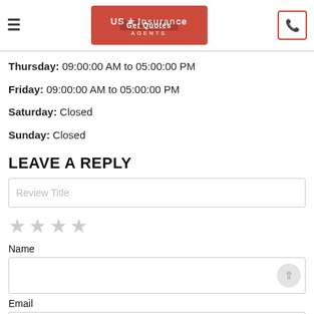US Insurance Agents — Get Quotes
Thursday: 09:00:00 AM to 05:00:00 PM
Friday: 09:00:00 AM to 05:00:00 PM
Saturday: Closed
Sunday: Closed
LEAVE A REPLY
Review Title
[Figure (other): Star rating selector with 4 empty/grey stars]
Name
Email